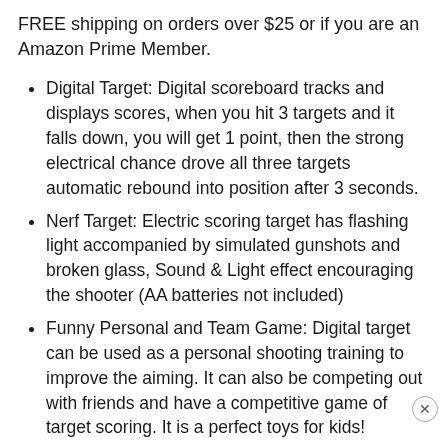FREE shipping on orders over $25 or if you are an Amazon Prime Member.
Digital Target: Digital scoreboard tracks and displays scores, when you hit 3 targets and it falls down, you will get 1 point, then the strong electrical chance drove all three targets automatic rebound into position after 3 seconds.
Nerf Target: Electric scoring target has flashing light accompanied by simulated gunshots and broken glass, Sound & Light effect encouraging the shooter (AA batteries not included)
Funny Personal and Team Game: Digital target can be used as a personal shooting training to improve the aiming. It can also be competing out with friends and have a competitive game of target scoring. It is a perfect toys for kids!
2020 UPDATED EDITION: The connecting rod is shorter and stronger then previous editions and not as easy to be broken. Equipped with 4 metal sucker...